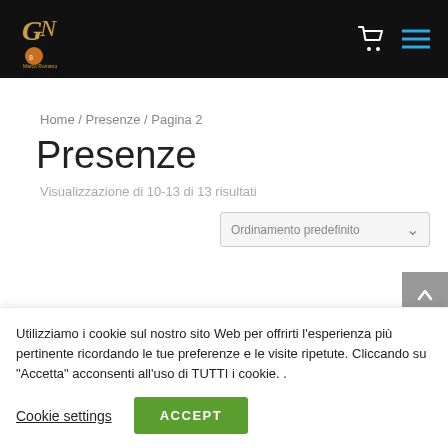Header navigation bar with logo and icons
Home / Presenze / Pagina 2
Presenze
Visualizzazione di 10-13 di 13 risultati
Ordinamento predefinito
Utilizziamo i cookie sul nostro sito Web per offrirti l'esperienza più pertinente ricordando le tue preferenze e le visite ripetute. Cliccando su "Accetta" acconsenti all'uso di TUTTI i cookie. .
Cookie settings
ACCEPT